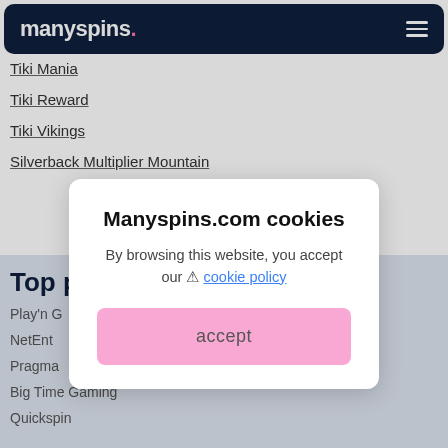manyspins.
Tiki Mania
Tiki Reward
Tiki Vikings
Silverback Multiplier Mountain
Top p...
Play'n G...
NetEnt
Pragma...
Big Time Gaming
Quickspin
[Figure (screenshot): Cookie consent modal dialog for Manyspins.com with title 'Manyspins.com cookies', body text 'By browsing this website, you accept our cookie policy' and a pink accept button.]